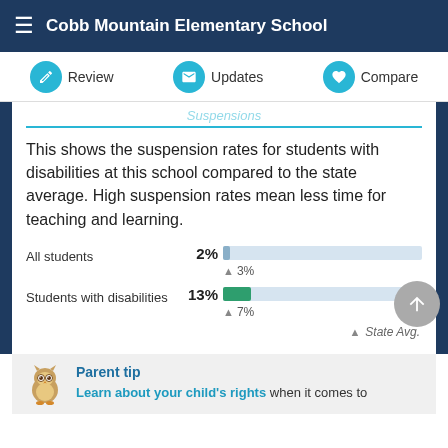Cobb Mountain Elementary School
Review | Updates | Compare
This shows the suspension rates for students with disabilities at this school compared to the state average. High suspension rates mean less time for teaching and learning.
[Figure (bar-chart): Suspension rates]
Parent tip
Learn about your child's rights when it comes to